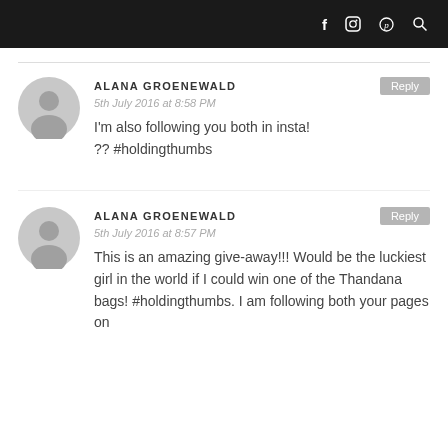f  [instagram]  [pinterest]  [search]
ALANA GROENEWALD
5th July 2016 at 8:58 PM
I'm also following you both in insta! ?? #holdingthumbs
ALANA GROENEWALD
5th July 2016 at 8:57 PM
This is an amazing give-away!!! Would be the luckiest girl in the world if I could win one of the Thandana bags! #holdingthumbs. I am following both your pages on